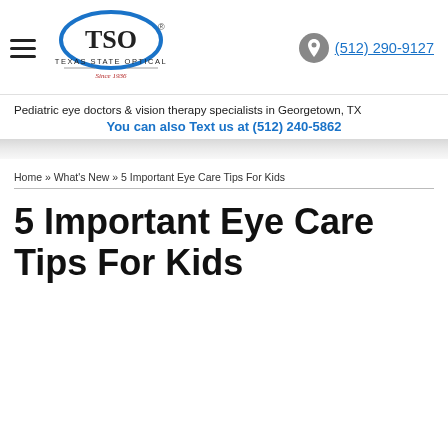[Figure (logo): TSO Texas State Optical logo with oval shape and 'Since 1936' tagline]
(512) 290-9127
Pediatric eye doctors & vision therapy specialists in Georgetown, TX
You can also Text us at (512) 240-5862
Home » What's New » 5 Important Eye Care Tips For Kids
5 Important Eye Care Tips For Kids